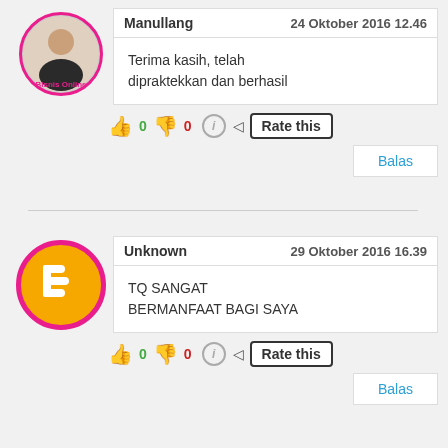[Figure (photo): User avatar photo with circular crop and pink border, bisnis online badge]
Manullang
24 Oktober 2016 12.46
Terima kasih, telah dipraktekkan dan berhasil
👍 0 👎 0 ℹ Rate this
Balas
[Figure (logo): Blogger default avatar: orange circle with pink border and white blogger B icon]
Unknown
29 Oktober 2016 16.39
TQ SANGAT BERMANFAAT BAGI SAYA
👍 0 👎 0 ℹ Rate this
Balas